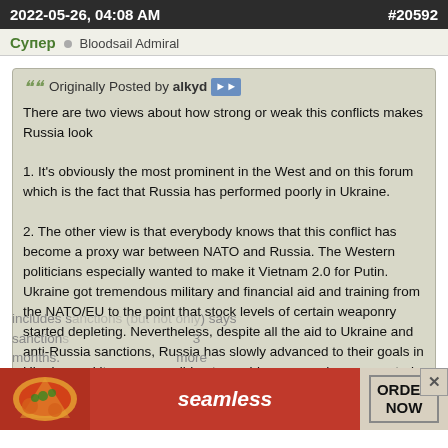2022-05-26, 04:08 AM  #20592
Cynep  Bloodsail Admiral
Originally Posted by alkyd
There are two views about how strong or weak this conflicts makes Russia look

1. It's obviously the most prominent in the West and on this forum which is the fact that Russia has performed poorly in Ukraine.

2. The other view is that everybody knows that this conflict has become a proxy war between NATO and Russia. The Western politicians especially wanted to make it Vietnam 2.0 for Putin. Ukraine got tremendous military and financial aid and training from the NATO/EU to the point that stock levels of certain weaponry started depleting. Nevertheless, despite all the aid to Ukraine and anti-Russia sanctions, Russia has slowly advanced to their goals in Ukraine and its economy did not crumble as many have expected.

The fact that NATO and EU couldn't break Russia with all the sanctions and military aid to Ukraine gives good PR opticals for Russia.
It's way too soon to say that. Even the guy who in his every prediction includes sanctions (but not only) says sanctions 3 months. more